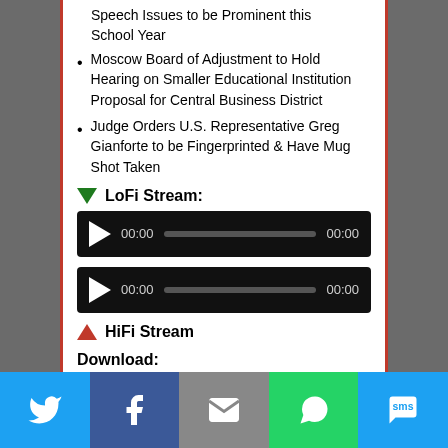Speech Issues to be Prominent this School Year
Moscow Board of Adjustment to Hold Hearing on Smaller Educational Institution Proposal for Central Business District
Judge Orders U.S. Representative Greg Gianforte to be Fingerprinted & Have Mug Shot Taken
LoFi Stream:
[Figure (other): Audio player with play button, 00:00 timestamp, progress bar, and 00:00 duration]
[Figure (other): Audio player with play button, 00:00 timestamp, progress bar, and 00:00 duration]
HiFi Stream
Download:
[Figure (other): Social sharing bar with Twitter, Facebook, Email, WhatsApp, and SMS buttons]